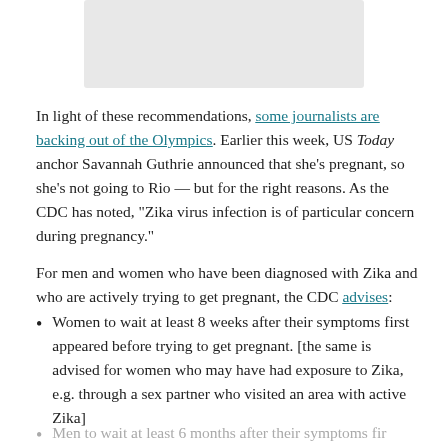[Figure (photo): Placeholder image rectangle at top of page]
In light of these recommendations, some journalists are backing out of the Olympics. Earlier this week, US Today anchor Savannah Guthrie announced that she's pregnant, so she's not going to Rio — but for the right reasons. As the CDC has noted, "Zika virus infection is of particular concern during pregnancy."
For men and women who have been diagnosed with Zika and who are actively trying to get pregnant, the CDC advises:
Women to wait at least 8 weeks after their symptoms first appeared before trying to get pregnant. [the same is advised for women who may have had exposure to Zika, e.g. through a sex partner who visited an area with active Zika]
Men to wait at least 6 months after their symptoms first appeared (faded/partial)